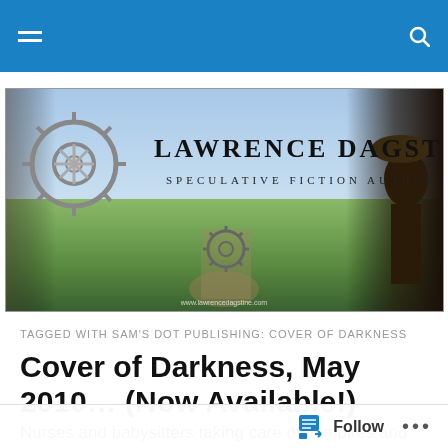Navigation bar with hamburger menu and search icon
[Figure (illustration): Lawrence Dagstine blog banner showing steampunk gears on left, fantasy landscape in center with sky and green fields, dark figure on right. Text reads 'Lawrence Dagstine — Speculative Fiction Author']
TAGGED WITH SAM'S DOT PUBLISHING: COVER OF DARKNESS
Cover of Darkness, May 2010… (Now Available!)
Nurses and babysitters taking care of vampires and
Follow  •••